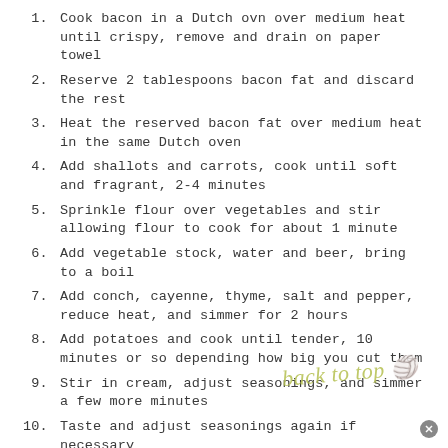Cook bacon in a Dutch ovn over medium heat until crispy, remove and drain on paper towel
Reserve 2 tablespoons bacon fat and discard the rest
Heat the reserved bacon fat over medium heat in the same Dutch oven
Add shallots and carrots, cook until soft and fragrant, 2-4 minutes
Sprinkle flour over vegetables and stir allowing flour to cook for about 1 minute
Add vegetable stock, water and beer, bring to a boil
Add conch, cayenne, thyme, salt and pepper, reduce heat, and simmer for 2 hours
Add potatoes and cook until tender, 10 minutes or so depending how big you cut them
Stir in cream, adjust seasonings, and simmer a few more minutes
Taste and adjust seasonings again if necessary
Garnish with fresh thyme or parsley, if desired